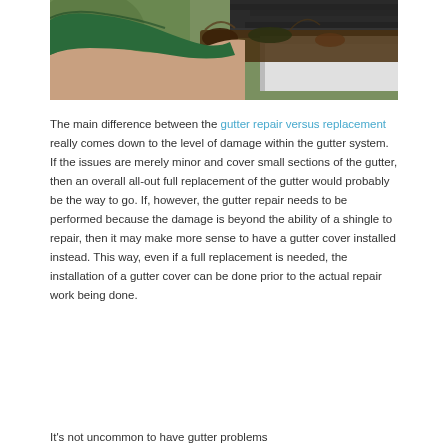[Figure (photo): A person wearing a green glove cleaning debris and leaves out of a white gutter attached to a roof with dark shingles.]
The main difference between the gutter repair versus replacement really comes down to the level of damage within the gutter system. If the issues are merely minor and cover small sections of the gutter, then an overall all-out full replacement of the gutter would probably be the way to go. If, however, the gutter repair needs to be performed because the damage is beyond the ability of a shingle to repair, then it may make more sense to have a gutter cover installed instead. This way, even if a full replacement is needed, the installation of a gutter cover can be done prior to the actual repair work being done.
It's not uncommon to have gutter problems